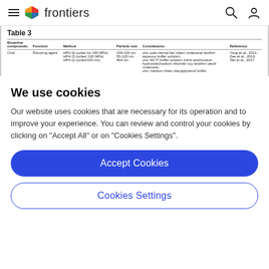frontiers
Table 3
| Bioactive compounds | Function | Method | Particle size | Constituents | Reference |
| --- | --- | --- | --- | --- | --- |
| Oriol | Flavoring agent | HPH (6 cycles for 150 MPa)
HPH (5 cycles / 100 MPa)
HPH (2 cycles/100 cm) | 109-139 nm
55-123 nm
469 nm | o/w: palm kernel fat/ citlan/ undecane/ lecithin
aqueous buffer solution;
o/w: MCT/ buffer solution (citric acid/sodium
hydroxide)/sodium chloride/ soy lecithin/ oleol/
undecane;
o/w: medium chain olacylglycerol/ buffer | Yang et al., 2011;
Zee et al., 2013
Tan et al., 2017 |
We use cookies
Our website uses cookies that are necessary for its operation and to improve your experience. You can review and control your cookies by clicking on "Accept All" or on "Cookies Settings".
Accept Cookies
Cookies Settings